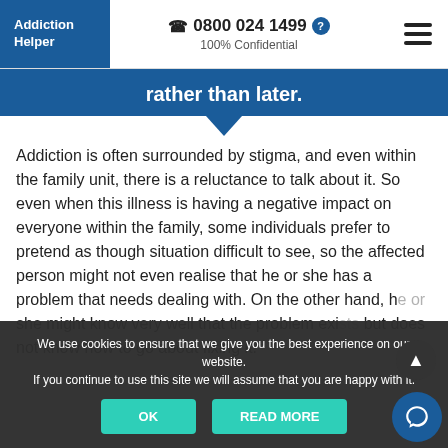Addiction Helper | 0800 024 1499 | 100% Confidential
rather than later.
Addiction is often surrounded by stigma, and even within the family unit, there is a reluctance to talk about it. So even when this illness is having a negative impact on everyone within the family, some individuals prefer to pretend as though situation difficult to see, so the affected person might not even realise that he or she has a problem that needs dealing with. On the other hand, he or she might know very well that the problem exists but does not know how to go about fixing it.
We use cookies to ensure that we give you the best experience on our website. If you continue to use this site we will assume that you are happy with it.